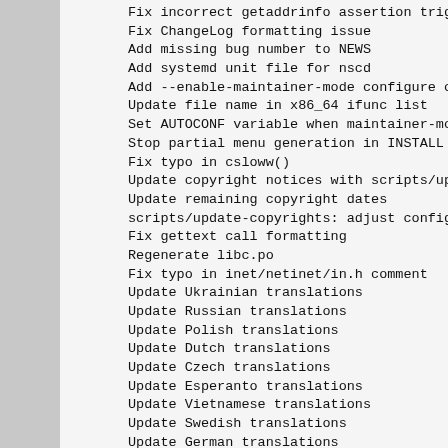Fix incorrect getaddrinfo assertion trigger
Fix ChangeLog formatting issue
Add missing bug number to NEWS
Add systemd unit file for nscd
Add --enable-maintainer-mode configure option
Update file name in x86_64 ifunc list
Set AUTOCONF variable when maintainer-mode is
Stop partial menu generation in INSTALL file
Fix typo in csloww()
Update copyright notices with scripts/update-c
Update remaining copyright dates
scripts/update-copyrights: adjust configure in
Fix gettext call formatting
Regenerate libc.po
Fix typo in inet/netinet/in.h comment
Update Ukrainian translations
Update Russian translations
Update Polish translations
Update Dutch translations
Update Czech translations
Update Esperanto translations
Update Vietnamese translations
Update Swedish translations
Update German translations
Update Bulgarian translations
Update Catalan translations
Update French translations
Update Slovenian translations
Revert "Async-signal safe TLS."
Revert "Patch 2/4 of the effort to make TLS ac